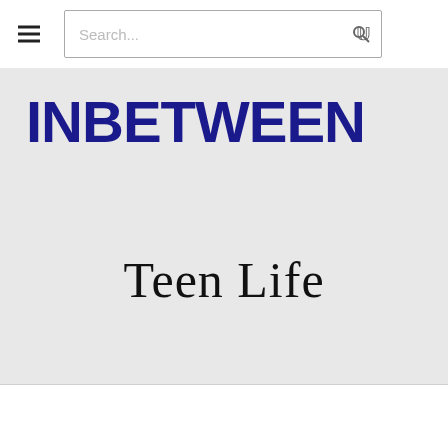INBETWEEN — Search navigation bar
[Figure (logo): INBETWEEN logo in bold dark navy blue text on light grey background]
Teen Life